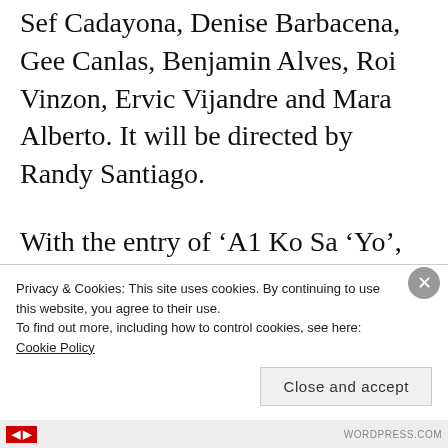Sef Cadayona, Denise Barbacena, Gee Canlas, Benjamin Alves, Roi Vinzon, Ervic Vijandre and Mara Alberto. It will be directed by Randy Santiago.
With the entry of ‘A1 Ko Sa ‘Yo’, the Koreanovela slot of GMA Telebabad will now be reduced to just three episodes per week. This should not pose a problem, as most Koreanovelas tend to have fewer
Privacy & Cookies: This site uses cookies. By continuing to use this website, you agree to their use.
To find out more, including how to control cookies, see here: Cookie Policy
Close and accept